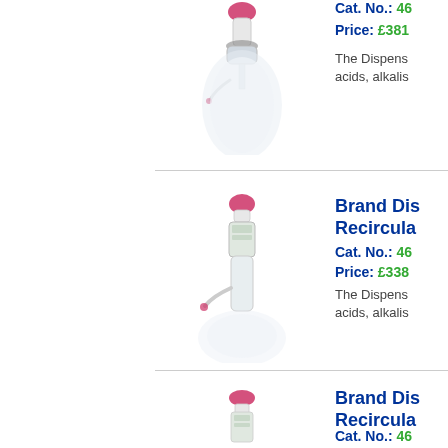[Figure (photo): Brand Dispensette dispenser bottle top with pink cap, shown on glass bottle - top product image (partially cropped at top)]
Cat. No.: 46...
Price: £381...
The Dispens... acids, alkalis...
[Figure (photo): Brand Dispensette S Recirculating dispenser bottle, white body with pink cap and dispensing nozzle]
Brand Dis... Recircula...
Cat. No.: 46...
Price: £338...
The Dispens... acids, alkalis...
[Figure (photo): Brand Dispensette S Recirculating dispenser bottle, white body with pink cap and dispensing nozzle - third product]
Brand Dis... Recircula...
Cat. No.: 46...
Price: £381...